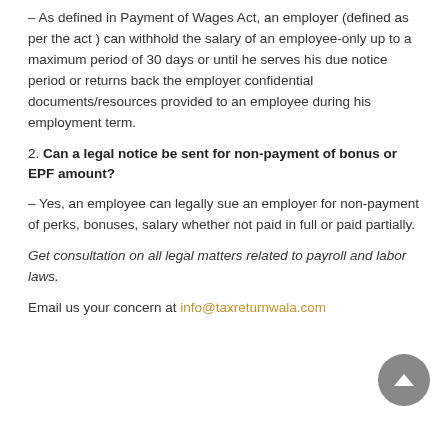– As defined in Payment of Wages Act, an employer (defined as per the act ) can withhold the salary of an employee-only up to a maximum period of 30 days or until he serves his due notice period or returns back the employer confidential documents/resources provided to an employee during his employment term.
2. Can a legal notice be sent for non-payment of bonus or EPF amount?
– Yes, an employee can legally sue an employer for non-payment of perks, bonuses, salary whether not paid in full or paid partially.
Get consultation on all legal matters related to payroll and labor laws.
Email us your concern at info@taxreturnwala.com